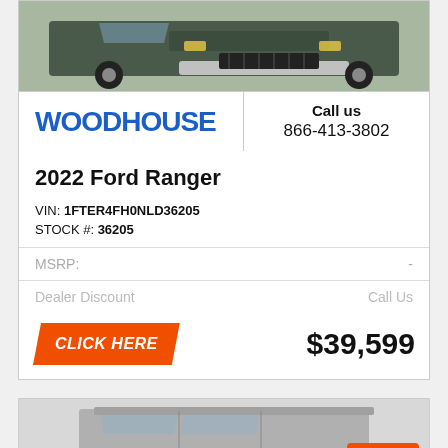[Figure (photo): Front view of a dark green 2022 Ford Ranger truck]
WOODHOUSE
Call us
866-413-3802
2022 Ford Ranger
VIN: 1FTER4FH0NLD36205
STOCK #: 36205
MSRP: -
Dealer Discount   Call Us
CLICK HERE   $39,599
[Figure (photo): Partial front view of a silver/white truck, bottom of page]